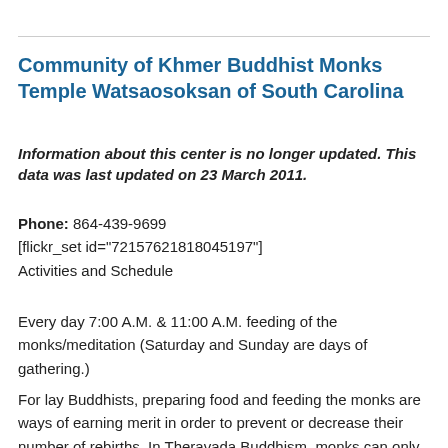Community of Khmer Buddhist Monks Temple Watsaosoksan of South Carolina
Information about this center is no longer updated. This data was last updated on 23 March 2011.
Phone: 864-439-9699
[flickr_set id="72157621818045197"]
Activities and Schedule
Every day 7:00 A.M. & 11:00 A.M. feeding of the monks/meditation (Saturday and Sunday are days of gathering.)
For lay Buddhists, preparing food and feeding the monks are ways of earning merit in order to prevent or decrease their number of rebirths. In Theravada Buddhism, monks can only